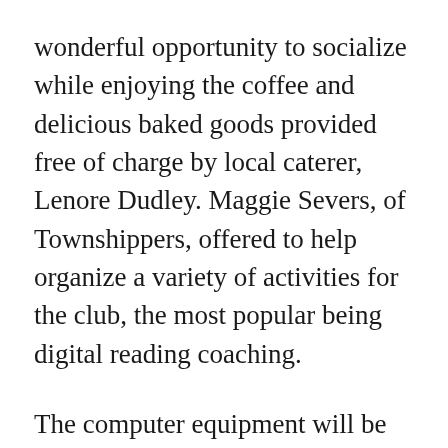wonderful opportunity to socialize while enjoying the coffee and delicious baked goods provided free of charge by local caterer, Lenore Dudley. Maggie Severs, of Townshippers, offered to help organize a variety of activities for the club, the most popular being digital reading coaching.
The computer equipment will be available to all library members during regular operating hours. The outdoor furniture will be there for anyone who cares to sit down and relax on the library grounds: tourists, citizens and library members alike. Much can be said for the generosity of the